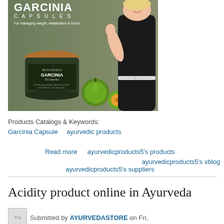[Figure (photo): Product promotional image for Garcinia Capsules by BioAyurveda. Shows a supplement jar labeled 'BIOAYURVEDA GARCINIA 90 Capsules' alongside two garcinia fruits, and a smiling woman in black sportswear measuring her waist. Text overlay: 'GARCINIA CAPSULES - For managing weight, metabolism & mood']
Products Catalogs & Keywords:
Garcinia Capsule    ayurvedic products
Read more    ayurvedicproducts5's products    ayurvedicproducts5's suppliers
ayurvedicproducts5's xblog
Acidity product online in Ayurveda
Submitted by AYURVEDASTORE on Fri,